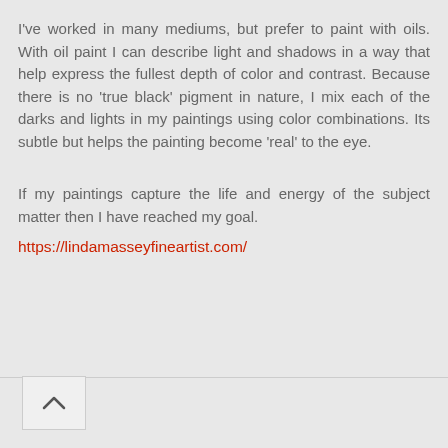I've worked in many mediums, but prefer to paint with oils. With oil paint I can describe light and shadows in a way that help express the fullest depth of color and contrast. Because there is no 'true black' pigment in nature, I mix each of the darks and lights in my paintings using color combinations. Its subtle but helps the painting become 'real' to the eye.
If my paintings capture the life and energy of the subject matter then I have reached my goal.
https://lindamasseyfineartist.com/